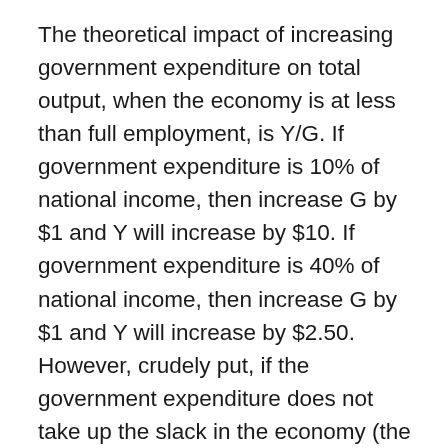The theoretical impact of increasing government expenditure on total output, when the economy is at less than full employment, is Y/G. If government expenditure is 10% of national income, then increase G by $1 and Y will increase by $10. If government expenditure is 40% of national income, then increase G by $1 and Y will increase by $2.50. However, crudely put, if the government expenditure does not take up the slack in the economy (the deficit in aggregate demand), then (in an inflation-free economy) the government expenditure “crowds out” private expenditure. Another way of putting the situation, if the economy is not “stuck in a rut” as Keynes assumed in his “General Theory”, but merely reacting to overinvestment (such as a housing bubble), then increased government expenditure will have no effect on total output, but “crowd out” other expenditure. It will also